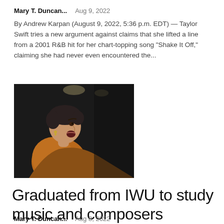Mary T. Duncan...    Aug 9, 2022
By Andrew Karpan (August 9, 2022, 5:36 p.m. EDT) — Taylor Swift tries a new argument against claims that she lifted a line from a 2001 R&B hit for her chart-topping song "Shake It Off," claiming she had never even encountered the...
[Figure (photo): A woman with short dark hair singing or performing on a dark stage, wearing an orange/gold top.]
Graduated from IWU to study music and composers silenced by the Nazis in Austria
Mary T. Duncan...    Aug 9, 2022